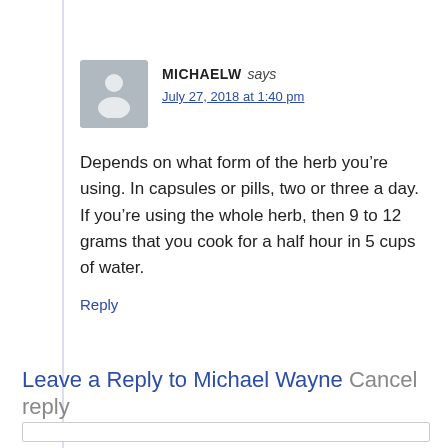MICHAELW says
July 27, 2018 at 1:40 pm
Depends on what form of the herb you’re using. In capsules or pills, two or three a day. If you’re using the whole herb, then 9 to 12 grams that you cook for a half hour in 5 cups of water.
Reply
Leave a Reply to Michael Wayne Cancel reply